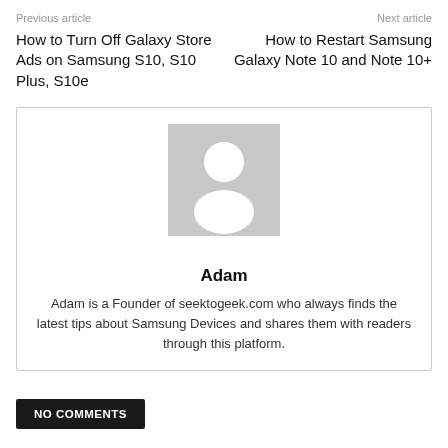Previous article | Next article
How to Turn Off Galaxy Store Ads on Samsung S10, S10 Plus, S10e
How to Restart Samsung Galaxy Note 10 and Note 10+
[Figure (illustration): Generic user avatar placeholder — grey square with white silhouette of a person (head and shoulders).]
Adam
Adam is a Founder of seektogeek.com who always finds the latest tips about Samsung Devices and shares them with readers through this platform.
NO COMMENTS